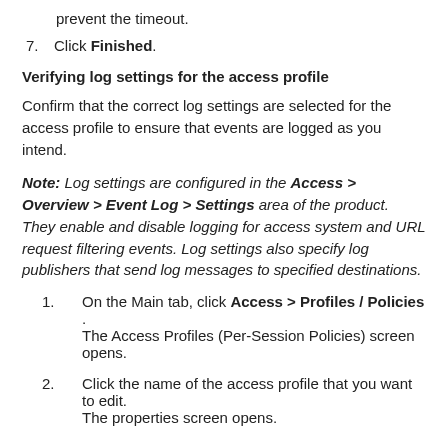7. Click Finished.
Verifying log settings for the access profile
Confirm that the correct log settings are selected for the access profile to ensure that events are logged as you intend.
Note: Log settings are configured in the Access > Overview > Event Log > Settings area of the product. They enable and disable logging for access system and URL request filtering events. Log settings also specify log publishers that send log messages to specified destinations.
1. On the Main tab, click Access > Profiles / Policies . The Access Profiles (Per-Session Policies) screen opens.
2. Click the name of the access profile that you want to edit. The properties screen opens.